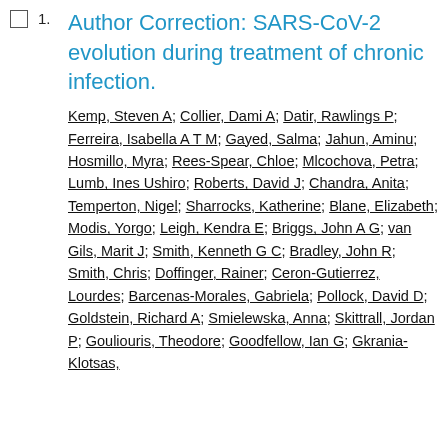1. Author Correction: SARS-CoV-2 evolution during treatment of chronic infection. Kemp, Steven A; Collier, Dami A; Datir, Rawlings P; Ferreira, Isabella A T M; Gayed, Salma; Jahun, Aminu; Hosmillo, Myra; Rees-Spear, Chloe; Mlcochova, Petra; Lumb, Ines Ushiro; Roberts, David J; Chandra, Anita; Temperton, Nigel; Sharrocks, Katherine; Blane, Elizabeth; Modis, Yorgo; Leigh, Kendra E; Briggs, John A G; van Gils, Marit J; Smith, Kenneth G C; Bradley, John R; Smith, Chris; Doffinger, Rainer; Ceron-Gutierrez, Lourdes; Barcenas-Morales, Gabriela; Pollock, David D; Goldstein, Richard A; Smielewska, Anna; Skittrall, Jordan P; Gouliouris, Theodore; Goodfellow, Ian G; Gkrania-Klotsas,